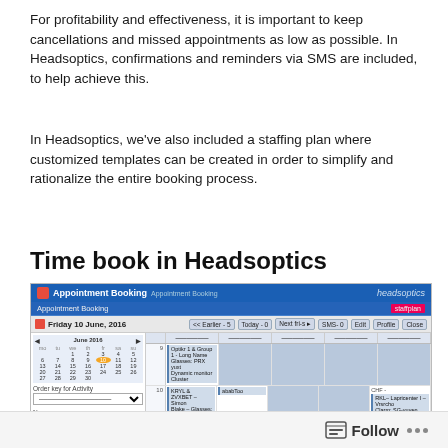For profitability and effectiveness, it is important to keep cancellations and missed appointments as low as possible. In Headsoptics, confirmations and reminders via SMS are included, to help achieve this.
In Headsoptics, we've also included a staffing plan where customized templates can be created in order to simplify and rationalize the entire booking process.
Time book in Headsoptics
[Figure (screenshot): Screenshot of Headsoptics Appointment Booking software showing a calendar view for Friday 10 June, 2016 with multiple appointment slots, a mini calendar on the left sidebar, and various navigation controls.]
Follow ...